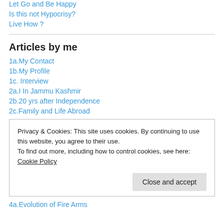Let Go and Be Happy
Is this not Hypocrisy?
Live How ?
Articles by me
1a.My Contact
1b.My Profile
1c. Interview
2a.I In Jammu Kashmir
2b.20 yrs after Independence
2c.Family and Life Abroad
Privacy & Cookies: This site uses cookies. By continuing to use this website, you agree to their use. To find out more, including how to control cookies, see here: Cookie Policy
4a.Evolution of Fire Arms